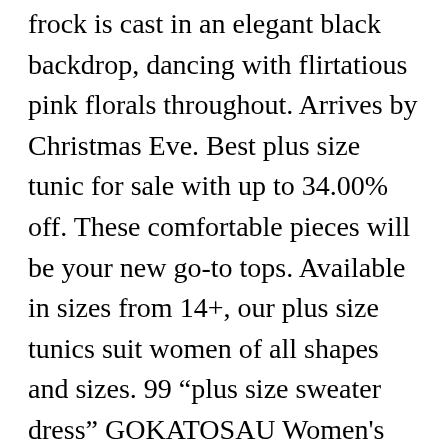frock is cast in an elegant black backdrop, dancing with flirtatious pink florals throughout. Arrives by Christmas Eve. Best plus size tunic for sale with up to 34.00% off. These comfortable pieces will be your new go-to tops. Available in sizes from 14+, our plus size tunics suit women of all shapes and sizes. 99 "plus size sweater dress" GOKATOSAU Women's Sexy Casual Off Shoulder Long Sleeve Lace Up Loose Club Mini Dress. Was £39.00. Skip to main content Accessibility Policy Menu . Shop today for great deals on brands you love. There's a problem loading this menu right now. After viewing product detail pages, look here to find an easy way to navigate back to pages